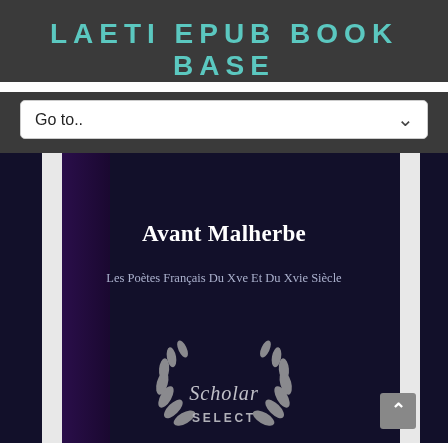LAETI EPUB BOOK BASE
Go to..
[Figure (illustration): Book cover for 'Avant Malherbe - Les Poètes Français Du Xve Et Du Xvie Siècle' with dark navy background, purple spine strip, white lateral strips, bold white title, lighter subtitle, and a Scholar Select laurel wreath badge at the bottom.]